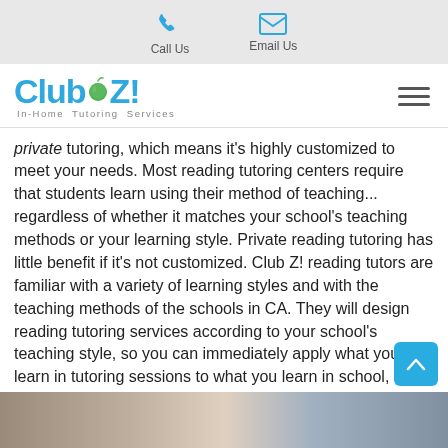Call Us   Email Us
[Figure (logo): Club Z! In-Home Tutoring Services logo with green apple icon]
private tutoring, which means it's highly customized to meet your needs. Most reading tutoring centers require that students learn using their method of teaching... regardless of whether it matches your school's teaching methods or your learning style. Private reading tutoring has little benefit if it's not customized. Club Z! reading tutors are familiar with a variety of learning styles and with the teaching methods of the schools in CA. They will design reading tutoring services according to your school's teaching style, so you can immediately apply what you learn in tutoring sessions to what you learn in school, without any confusion!
[Figure (photo): Partial photo of students at the bottom of the page]